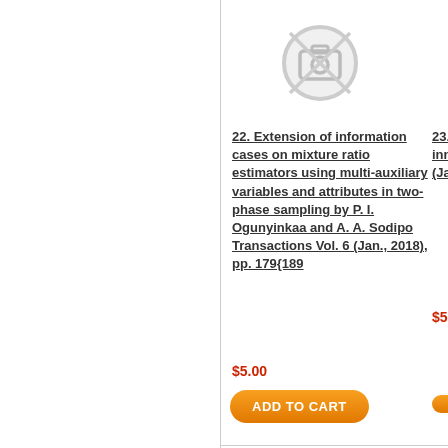[Figure (other): Placeholder image icon (camera/no-image symbol) for item 23]
22. Extension of information cases on mixture ratio estimators using multi-auxiliary variables and attributes in two-phase sampling by P. I. Ogunyinkaa and A. A. Sodipo Transactions Vol. 6 (Jan., 2018), pp. 179{189
23. (partial, truncated) tim... wit... inn... Shi... an... Tr... (Ja... 199...
$5.00
$5.
ADD TO CART